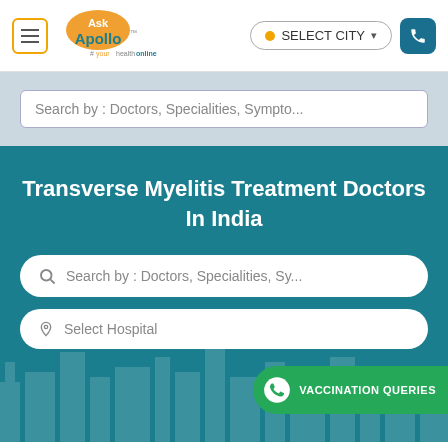[Figure (logo): Ask Apollo logo with tagline #yourhealthonline]
SELECT CITY
Search by : Doctors, Specialities, Sympto...
Transverse Myelitis Treatment Doctors In India
Search by : Doctors, Specialities, Sy...
Select Hospital
VACCINATION QUERIES
REQUEST A CALL BACK